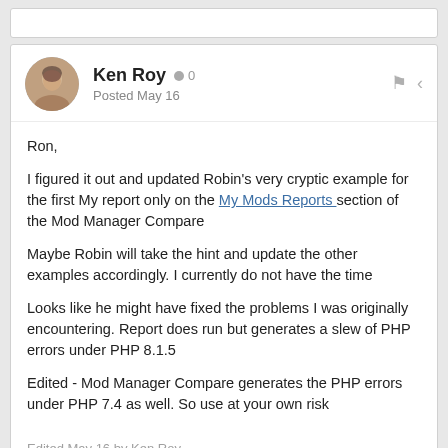[Figure (other): Forum post card with user avatar of Ken Roy (photo of older man), username, post date, and action icons]
Ken Roy  0
Posted May 16
Ron,

I figured it out and updated Robin's very cryptic example for the first My report only on the My Mods Reports section of the Mod Manager Compare

Maybe Robin will take the hint and update the other examples accordingly.  I currently do not have the time

Looks like he might have fixed the problems I was originally encountering.   Report does run but generates a slew of PHP errors under PHP 8.1.5

Edited - Mod Manager Compare generates the PHP errors under PHP 7.4 as well.  So use at your own risk
Edited May 16 by Ken Roy
add more info